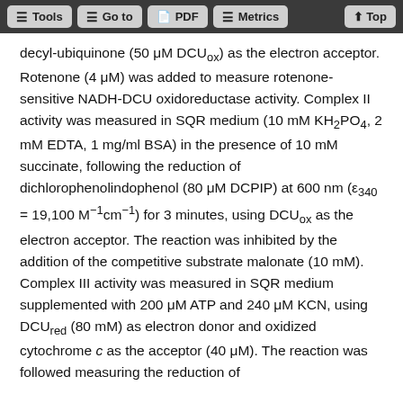Tools | Go to | PDF | Metrics | Top
decyl-ubiquinone (50 μM DCUox) as the electron acceptor. Rotenone (4 μM) was added to measure rotenone-sensitive NADH-DCU oxidoreductase activity. Complex II activity was measured in SQR medium (10 mM KH2PO4, 2 mM EDTA, 1 mg/ml BSA) in the presence of 10 mM succinate, following the reduction of dichlorophenolindophenol (80 μM DCPIP) at 600 nm (ε340 = 19,100 M⁻¹cm⁻¹) for 3 minutes, using DCUox as the electron acceptor. The reaction was inhibited by the addition of the competitive substrate malonate (10 mM). Complex III activity was measured in SQR medium supplemented with 200 μM ATP and 240 μM KCN, using DCUred (80 mM) as electron donor and oxidized cytochrome c as the acceptor (40 μM). The reaction was followed measuring the reduction of